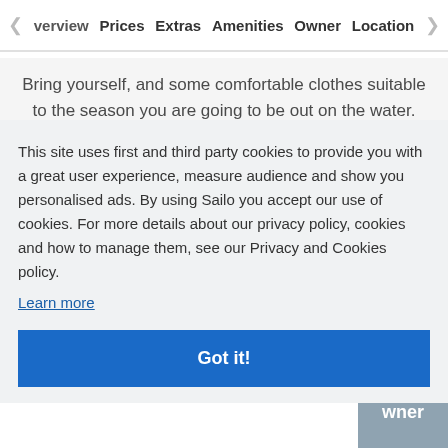Overview  Prices  Extras  Amenities  Owner  Location
Bring yourself, and some comfortable clothes suitable to the season you are going to be out on the water. Please keep in mind that it is often 10 degrees cooler out on the water, so a jacket or windbreaker is never a bad idea. We also
This site uses first and third party cookies to provide you with a great user experience, measure audience and show you personalised ads. By using Sailo you accept our use of cookies. For more details about our privacy policy, cookies and how to manage them, see our Privacy and Cookies policy.
Learn more
Got it!